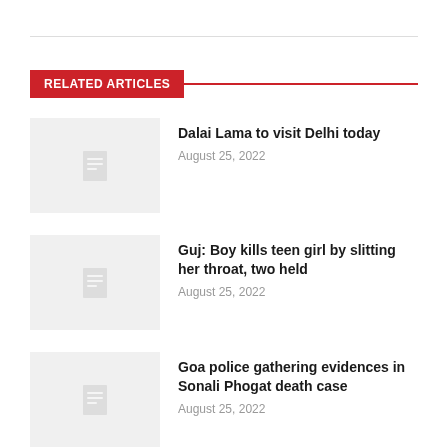RELATED ARTICLES
Dalai Lama to visit Delhi today
August 25, 2022
Guj: Boy kills teen girl by slitting her throat, two held
August 25, 2022
Goa police gathering evidences in Sonali Phogat death case
August 25, 2022